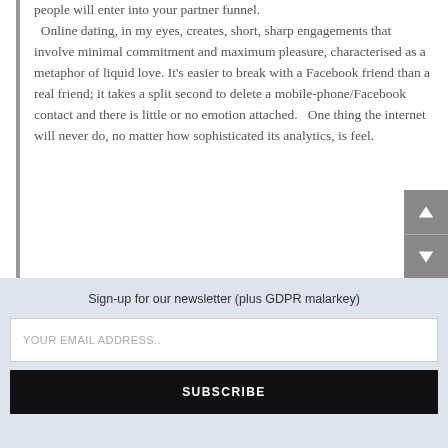people will enter into your partner funnel.
  Online dating, in my eyes, creates, short, sharp engagements that involve minimal commitment and maximum pleasure, characterised as a metaphor of liquid love. It's easier to break with a Facebook friend than a real friend; it takes a split second to delete a mobile-phone/Facebook contact and there is little or no emotion attached.   One thing the internet will never do, no matter how sophisticated its analytics, is feel.
Sign-up for our newsletter (plus GDPR malarkey)
YOUR EMAIL ADDRESS..
SUBSCRIBE